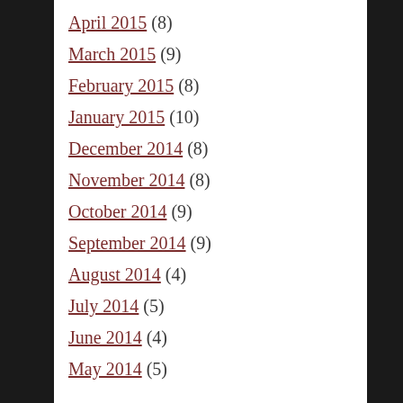April 2015 (8)
March 2015 (9)
February 2015 (8)
January 2015 (10)
December 2014 (8)
November 2014 (8)
October 2014 (9)
September 2014 (9)
August 2014 (4)
July 2014 (5)
June 2014 (4)
May 2014 (5)
Categories
Adam Park (10)